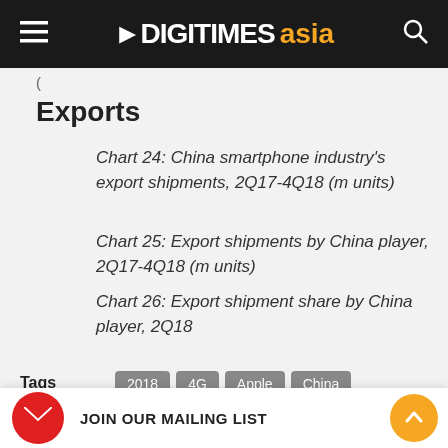DIGITIMES asia
(truncated)
Exports
Chart 24: China smartphone industry's export shipments, 2Q17-4Q18 (m units)
Chart 25: Export shipments by China player, 2Q17-4Q18 (m units)
Chart 26: Export shipment share by China player, 2Q18
Tags  2018  4G  Apple  China  China Mobile  China Telecom  China...  Digitimes...
JOIN OUR MAILING LIST